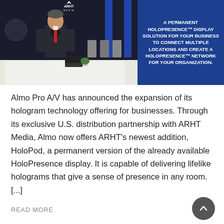[Figure (photo): Left section: A man in a dark suit with a red tie standing in a modern boardroom with a long white table and chairs, with ARHT Media logo visible. Right section: A blue box with white bold text reading 'A PERMANENT HOLOPRESENCE™ DISPLAY SOLUTION FOR YOUR BUSINESS TO CONNECT MULTIPLE LOCATIONS AND CREATE A HOLOPRESENCE™ NETWORK FOR YOUR ORGANIZATION.']
Almo Pro A/V has announced the expansion of its hologram technology offering for businesses. Through its exclusive U.S. distribution partnership with ARHT Media, Almo now offers ARHT's newest addition, HoloPod, a permanent version of the already available HoloPresence display. It is capable of delivering lifelike holograms that give a sense of presence in any room. [...]
READ MORE